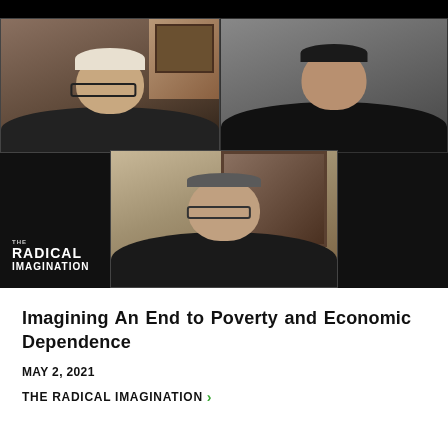[Figure (screenshot): Video conference screenshot showing three participants: top-left is an older white-haired man with glasses in a dark shirt in a home office setting; top-right is a dark-haired man in a black shirt against a gray background; bottom-center is an older man with glasses in a dark shirt with a painting visible behind him. A 'The Radical Imagination' logo/watermark appears in the bottom-left of the video frame.]
Imagining An End to Poverty and Economic Dependence
MAY 2, 2021
THE RADICAL IMAGINATION ›